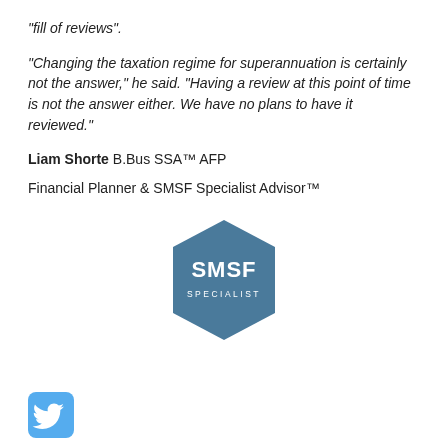“fill of reviews”.
“Changing the taxation regime for superannuation is certainly not the answer,” he said. “Having a review at this point of time is not the answer either. We have no plans to have it reviewed.”
Liam Shorte B.Bus SSA™ AFP
Financial Planner & SMSF Specialist Advisor™
[Figure (logo): SMSF Specialist badge - dark blue hexagon shape with white text reading SMSF SPECIALIST]
[Figure (logo): Twitter bird icon - light blue rounded square with white bird silhouette]